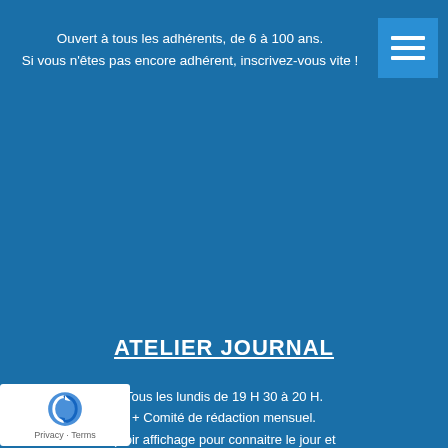Ouvert à tous les adhérents, de 6 à 100 ans.
Si vous n'êtes pas encore adhérent, inscrivez-vous vite !
[Figure (other): Hamburger menu icon — three horizontal white lines on a blue square background]
ATELIER JOURNAL
Tous les lundis de 19 H 30 à 20 H.
+ Comité de rédaction mensuel.
(Voir affichage pour connaitre le jour et
les horaires du prochain comité.)
[Figure (logo): reCAPTCHA badge with Google reCAPTCHA logo and Privacy - Terms text]